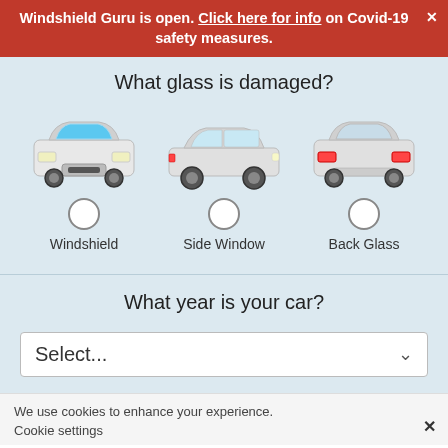Windshield Guru is open. Click here for info on Covid-19 safety measures.
What glass is damaged?
[Figure (illustration): Three car illustrations shown from front (with blue windshield highlighted), side, and rear views, each with a radio button below and labels: Windshield, Side Window, Back Glass]
What year is your car?
Select...
We use cookies to enhance your experience.
Cookie settings